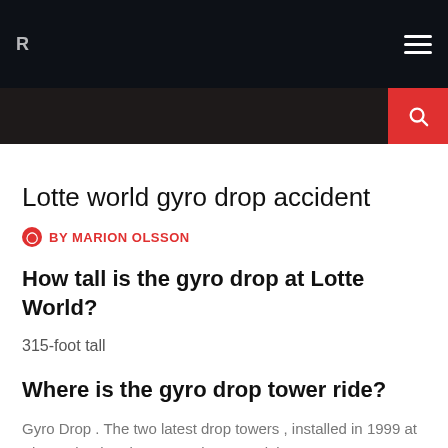Navigation bar with hamburger menu and search button
Lotte world gyro drop accident
BY MARION OLSSON
How tall is the gyro drop at Lotte World?
315-foot tall
Where is the gyro drop tower ride?
Gyro Drop . The two latest drop towers , installed in 1999 at Kings Island and 2003 at Kings Dominion , are Gyro Drop